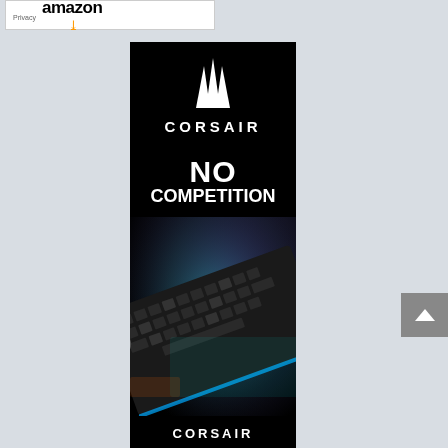[Figure (advertisement): Amazon advertisement banner with Amazon logo and Privacy label]
[Figure (advertisement): Corsair gaming keyboard advertisement with text NO COMPETITION, Corsair logo with sails icon, and RGB keyboard product photo]